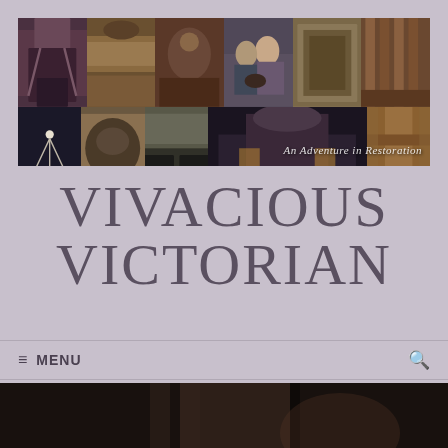[Figure (photo): Collage banner image showing Victorian house exterior and interior details including chandelier, ornate furniture, kitchen, couple with dog, exterior at night, and decorative woodwork. Text overlay reads 'An Adventure in Restoration']
VIVACIOUS VICTORIAN
≡ MENU
[Figure (photo): Dark interior photo of Victorian home, showing dimly lit room with dark wood tones]